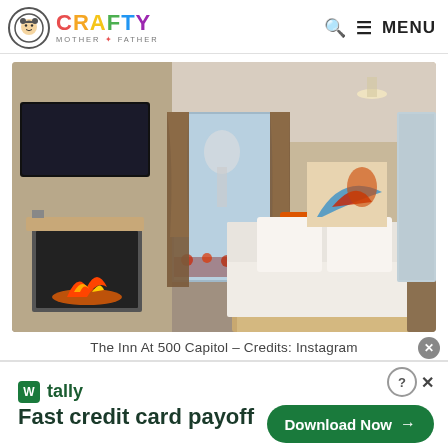CRAFTY MOTHER * FATHER — MENU
[Figure (photo): Hotel room photo of The Inn At 500 Capitol showing a king bed with orange accent pillows, fireplace on the left wall, brown curtains, colorful artwork above the headboard, and a mirror reflecting flower arrangements. Warm neutral tones throughout.]
The Inn At 500 Capitol – Credits: Instagram
[Figure (infographic): Advertisement banner for Tally app: green Tally logo icon, 'tally' text, tagline 'Fast credit card payoff', and a green 'Download Now →' button on the right with close/help/X icons.]